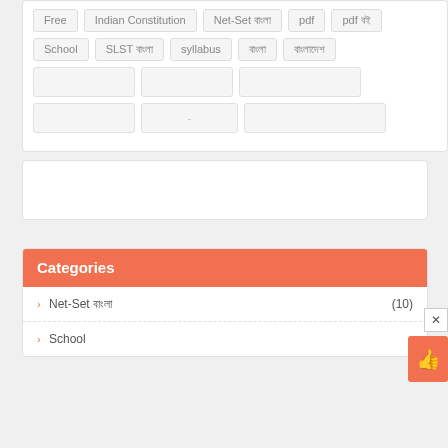Free
Indian Constitution
Net-Set বাংলা
pdf
pdf বই
School
SLST বাংলা
syllabus
বাংলা
বাংলাদেশ
Categories
Net-Set বাংলা (10)
School